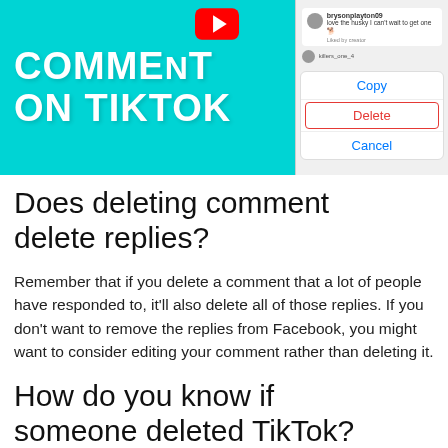[Figure (screenshot): Thumbnail image showing 'DELETE COMMENT ON TIKTOK' text on cyan background with YouTube play button, alongside a phone screenshot showing Copy/Delete/Cancel action sheet options]
Does deleting comment delete replies?
Remember that if you delete a comment that a lot of people have responded to, it'll also delete all of those replies. If you don't want to remove the replies from Facebook, you might want to consider editing your comment rather than deleting it.
How do you know if someone deleted TikTok?